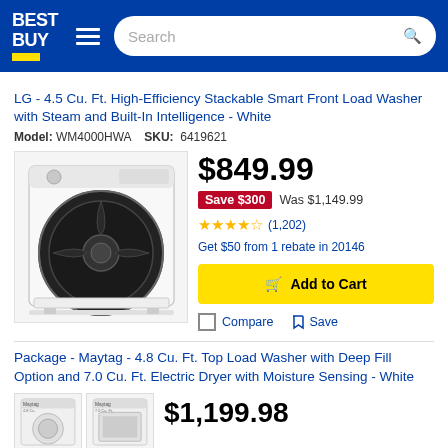Best Buy - Search
LG - 4.5 Cu. Ft. High-Efficiency Stackable Smart Front Load Washer with Steam and Built-In Intelligence - White
Model: WM4000HWA   SKU: 6419621
[Figure (photo): LG white front-load washer product photo]
$849.99
Save $300  Was $1,149.99
★★★★★ (1,202)
Get $50 from 1 rebate in 20146
Add to Cart
Compare  Save
Package - Maytag - 4.8 Cu. Ft. Top Load Washer with Deep Fill Option and 7.0 Cu. Ft. Electric Dryer with Moisture Sensing - White
$1,199.98